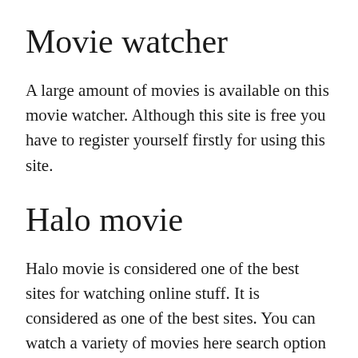Movie watcher
A large amount of movies is available on this movie watcher. Although this site is free you have to register yourself firstly for using this site.
Halo movie
Halo movie is considered one of the best sites for watching online stuff. It is considered as one of the best sites. You can watch a variety of movies here search option is also available so You can search for your favorite movies. One more quality of this site is that you can find year wise movie list which is also helpful. One more quality of this site is that